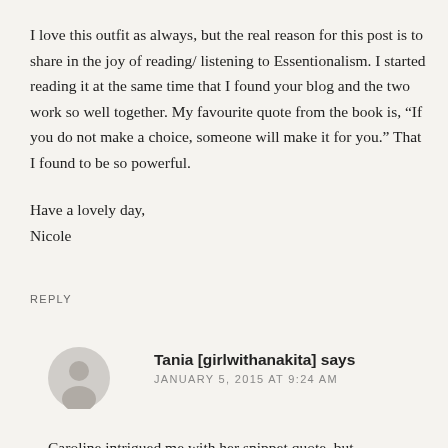I love this outfit as always, but the real reason for this post is to share in the joy of reading/ listening to Essentionalism. I started reading it at the same time that I found your blog and the two work so well together. My favourite quote from the book is, “If you do not make a choice, someone will make it for you.” That I found to be so powerful.

Have a lovely day,
Nicole
REPLY
Tania [girlwithanakita] says
JANUARY 5, 2015 AT 9:24 AM
Caroline intrigued me with her snippet quote, but